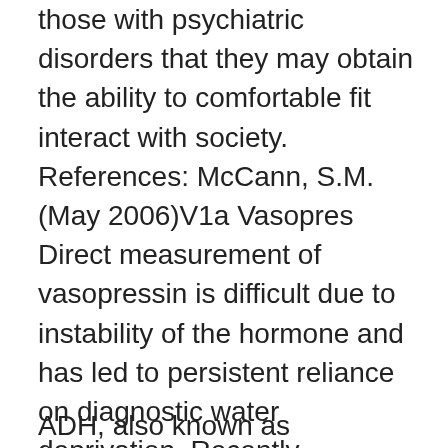those with psychiatric disorders that they may obtain the ability to comfortable fit interact with society. References: McCann, S.M.(May 2006)V1a Vasopres Direct measurement of vasopressin is difficult due to instability of the hormone and has led to persistent reliance on diagnostic water deprivation. Recently, measurements of the more stable vasopressin prohormone carboxy-terminal cleavage peptide, copeptin, have been used to differentiate between primary polydipsia, central DI, and nephrogenic DI. Adrenocorticotropic Hormone (ACTH) is a hormone produced in the anterior pituitary gland of the brain. This hormone is involved in regulating the steroid hormone and cortisol levels, released from the adrenal gland.
ADH, also known as vasopressin, normally is